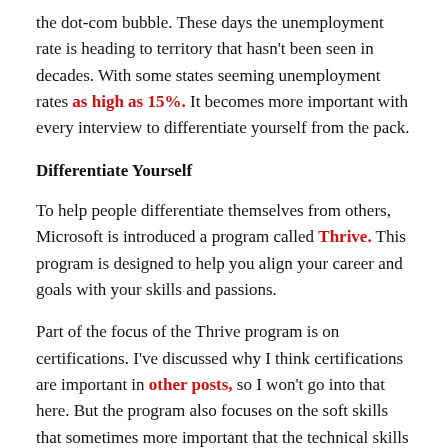the dot-com bubble.  These days the unemployment rate is heading to territory that hasn't been seen in decades.  With some states seeming unemployment rates as high as 15%.  It becomes more important with every interview to differentiate yourself from the pack.
Differentiate Yourself
To help people differentiate themselves from others, Microsoft is introduced a program called Thrive.  This program is designed to help you align your career and goals with your skills and passions.
Part of the focus of the Thrive program is on certifications.  I've discussed why I think certifications are important in other posts,  so I won't go into that here.  But the program also focuses on the soft skills that sometimes more important that the technical skills that you have.